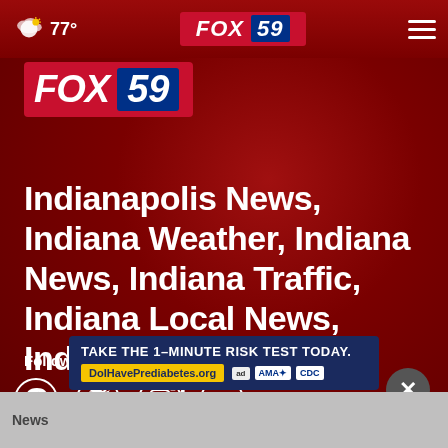77° FOX 59
[Figure (logo): FOX 59 logo - red background with white FOX text and blue 59 box]
Indianapolis News, Indiana Weather, Indiana News, Indiana Traffic, Indiana Local News, Indiana Sports, Community, Entertainment
Follow Us
[Figure (infographic): Social media icons: Facebook, Twitter, Instagram, YouTube]
[Figure (infographic): Advertisement banner: TAKE THE 1-MINUTE RISK TEST TODAY. DolHavePrediabetes.org with ad, AMA, CDC logos]
News